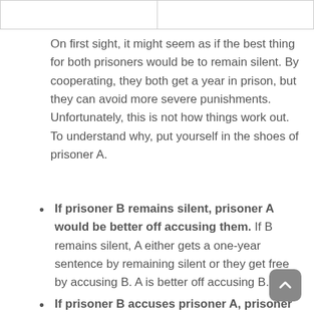|  |  |
| --- | --- |
|  |  |
On first sight, it might seem as if the best thing for both prisoners would be to remain silent. By cooperating, they both get a year in prison, but they can avoid more severe punishments. Unfortunately, this is not how things work out. To understand why, put yourself in the shoes of prisoner A.
If prisoner B remains silent, prisoner A would be better off accusing them. If B remains silent, A either gets a one-year sentence by remaining silent or they get free by accusing B. A is better off accusing B.
If prisoner B accuses prisoner A, prisoner A would be better off accusing them. If B accuses A, A either gets a 3-year